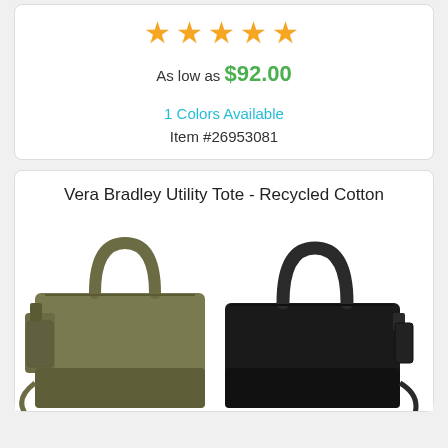[Figure (other): Five gold star rating icons]
As low as $92.00
1 Colors Available
Item #26953081
Vera Bradley Utility Tote - Recycled Cotton
[Figure (photo): Two Vera Bradley Utility Tote bags in recycled cotton - one olive/green and one black - shown side by side with top handles and shoulder straps]